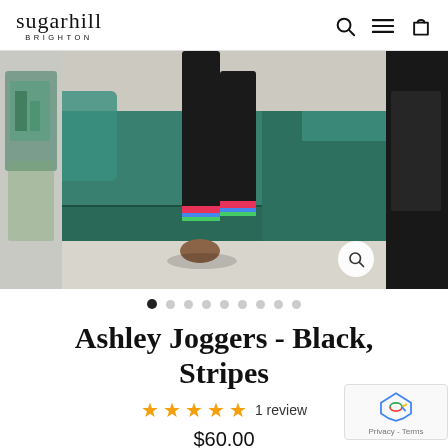sugarhill BRIGHTON
[Figure (photo): Product photo of Ashley Joggers in Black with Stripes. Person wearing black jogger pants with striped cuffs, kneeling on a teal/green velvet ottoman. Side thumbnails visible on left and right.]
Ashley Joggers - Black, Stripes
★★★★★ 1 review
$60.00